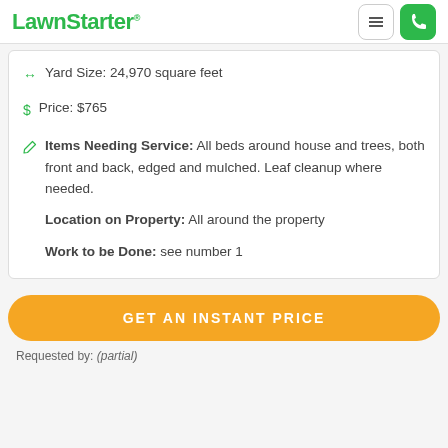LawnStarter
Yard Size: 24,970 square feet
Price: $765
Items Needing Service: All beds around house and trees, both front and back, edged and mulched. Leaf cleanup where needed.
Location on Property: All around the property
Work to be Done: see number 1
GET AN INSTANT PRICE
Requested by: (partial)